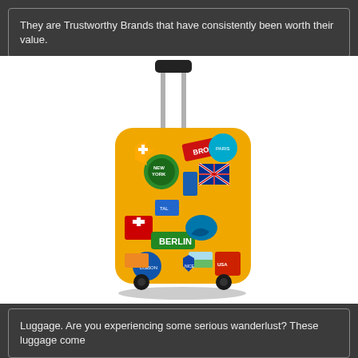They are Trustworthy Brands that have consistently been worth their value.
[Figure (photo): A yellow hard-shell rolling suitcase covered with various colorful travel stickers including 'BERLIN', 'BROADWAY', and other destination stickers, with a silver telescoping handle and black wheels.]
Luggage. Are you experiencing some serious wanderlust? These luggage come